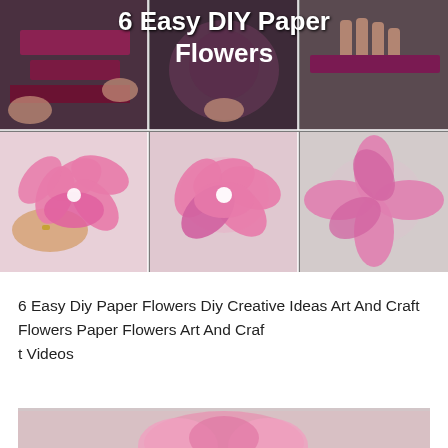[Figure (photo): Collage of 6 photos showing DIY paper flower crafting steps. Top row: hands working with dark purple/maroon paper strips. Bottom row: three pink paper flowers in various stages, displayed on white background.]
6 Easy DIY Paper Flowers
6 Easy Diy Paper Flowers Diy Creative Ideas Art And Craft Flowers Paper Flowers Art And Craf
t Videos
[Figure (photo): Bottom partial image showing pink paper flower craft materials on white background.]